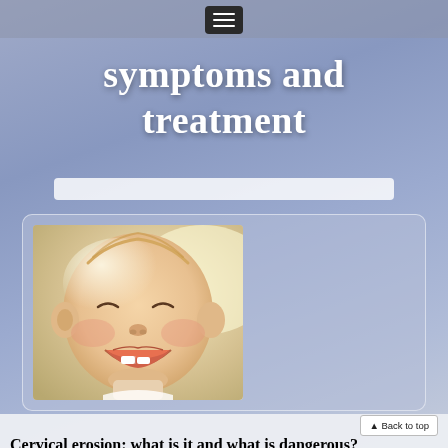symptoms and treatment
[Figure (photo): Smiling baby with first tooth visible, close-up portrait with soft background]
Cervical erosion: what is it and what is dangerous? Cervical erosion conceals threats that every woman needs to be aware of. This gynecological disease, which occupies one of the first places in the world. Statistics show that... Continue reading →